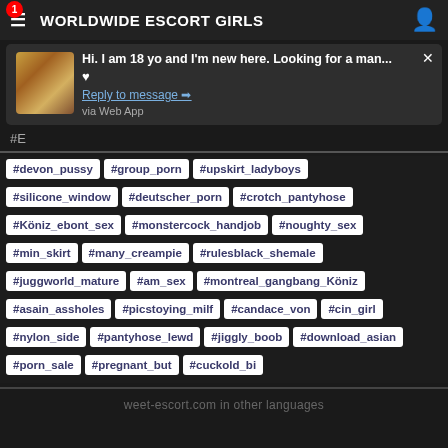WORLDWIDE ESCORT GIRLS
Hi. I am 18 yo and I'm new here. Looking for a man... ♥ Reply to message → via Web App
#E
#devon_pussy #group_porn #upskirt_ladyboys
#silicone_window #deutscher_porn #crotch_pantyhose
#Köniz_ebont_sex #monstercock_handjob #noughty_sex
#min_skirt #many_creampie #rulesblack_shemale
#juggworld_mature #am_sex #montreal_gangbang_Köniz
#asain_assholes #picstoying_milf #candace_von #cin_girl
#nylon_side #pantyhose_lewd #jiggly_boob #download_asian
#porn_sale #pregnant_but #cuckold_bi
weet-escort.com in other languages